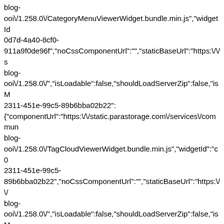blog-ooi\/1.258.0\/CategoryMenuViewerWidget.bundle.min.js","widgetId":"0d7d-4a40-8cf0-911a9f0de96f","noCssComponentUrl":"","staticBaseUrl":"https:\/\/sblog-ooi\/1.258.0\/","isLoadable":false,"shouldLoadServerZip":false,"isM2311-451e-99c5-89b6bba02b22":{"componentUrl":"https:\/\/static.parastorage.com\/services\/communblog-ooi\/1.258.0\/TagCloudViewerWidget.bundle.min.js","widgetId":"c02311-451e-99c5-89b6bba02b22","noCssComponentUrl":"","staticBaseUrl":"https:\/\/blog-ooi\/1.258.0\/","isLoadable":false,"shouldLoadServerZip":false,"isM0e6b-4cbb-a012-3b4a69e92046":{"componentUrl":"https:\/\/static.parastorage.com\/services\/communblog-ooi\/1.258.0\/MyPostsViewerWidget.bundle.min.js","widgetId":"e5a0e6b-4cbb-a012-3b4a69e92046","noCssComponentUrl":"","staticBaseUrl":"https:\/\/sblog-ooi\/1.258.0\/","isLoadable":false,"shouldLoadServerZip":false,"isM5350-6322-487d-8c16ff833c8a":{"sentryDsn":"https:\/\/f1ffc0b5efe04e9eb9762cd808722520@sentryviewer\/1.907.0\/details-